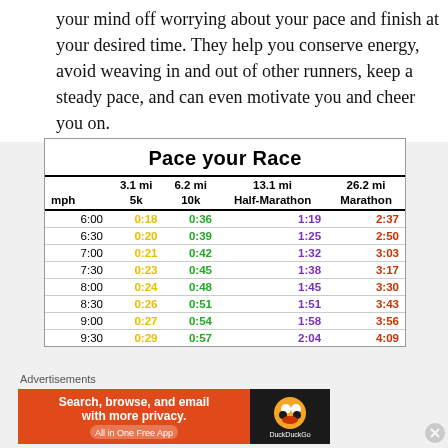your mind off worrying about your pace and finish at your desired time. They help you conserve energy, avoid weaving in and out of other runners, keep a steady pace, and can even motivate you and cheer you on.
|  | 3.1 mi / 5k | 6.2 mi / 10k | 13.1 mi / Half-Marathon | 26.2 mi / Marathon |
| --- | --- | --- | --- | --- |
| 6:00 | 0:18 | 0:36 | 1:19 | 2:37 |
| 6:30 | 0:20 | 0:39 | 1:25 | 2:50 |
| 7:00 | 0:21 | 0:42 | 1:32 | 3:03 |
| 7:30 | 0:23 | 0:45 | 1:38 | 3:17 |
| 8:00 | 0:24 | 0:48 | 1:45 | 3:30 |
| 8:30 | 0:26 | 0:51 | 1:51 | 3:43 |
| 9:00 | 0:27 | 0:54 | 1:58 | 3:56 |
| 9:30 | 0:29 | 0:57 | 2:04 | 4:09 |
Advertisements